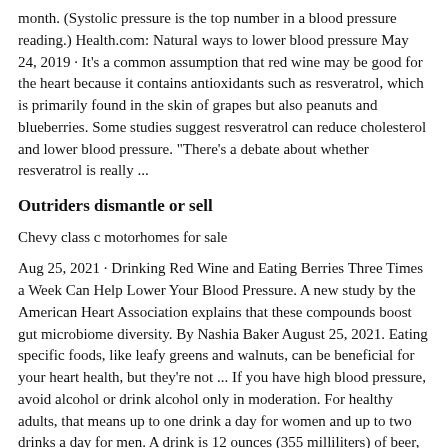month. (Systolic pressure is the top number in a blood pressure reading.) Health.com: Natural ways to lower blood pressure May 24, 2019 · It's a common assumption that red wine may be good for the heart because it contains antioxidants such as resveratrol, which is primarily found in the skin of grapes but also peanuts and blueberries. Some studies suggest resveratrol can reduce cholesterol and lower blood pressure. "There's a debate about whether resveratrol is really ...
Outriders dismantle or sell
Chevy class c motorhomes for sale
Aug 25, 2021 · Drinking Red Wine and Eating Berries Three Times a Week Can Help Lower Your Blood Pressure. A new study by the American Heart Association explains that these compounds boost gut microbiome diversity. By Nashia Baker August 25, 2021. Eating specific foods, like leafy greens and walnuts, can be beneficial for your heart health, but they're not ... If you have high blood pressure, avoid alcohol or drink alcohol only in moderation. For healthy adults, that means up to one drink a day for women and up to two drinks a day for men. A drink is 12 ounces (355 milliliters) of beer, 5 ounces (148 milliliters) of wine or 1.5 ounces (44 milliliters) of 80-proof distilled spirits.